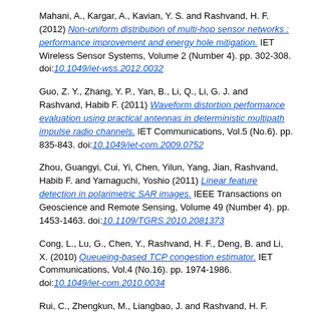Mahani, A., Kargar, A., Kavian, Y. S. and Rashvand, H. F. (2012) Non-uniform distribution of multi-hop sensor networks : performance improvement and energy hole mitigation. IET Wireless Sensor Systems, Volume 2 (Number 4). pp. 302-308. doi:10.1049/iet-wss.2012.0032
Guo, Z. Y., Zhang, Y. P., Yan, B., Li, Q., Li, G. J. and Rashvand, Habib F. (2011) Waveform distortion performance evaluation using practical antennas in deterministic multipath impulse radio channels. IET Communications, Vol.5 (No.6). pp. 835-843. doi:10.1049/iet-com.2009.0752
Zhou, Guangyi, Cui, Yi, Chen, Yilun, Yang, Jian, Rashvand, Habib F. and Yamaguchi, Yoshio (2011) Linear feature detection in polarimetric SAR images. IEEE Transactions on Geoscience and Remote Sensing, Volume 49 (Number 4). pp. 1453-1463. doi:10.1109/TGRS.2010.2081373
Cong, L., Lu, G., Chen, Y., Rashvand, H. F., Deng, B. and Li, X. (2010) Queueing-based TCP congestion estimator. IET Communications, Vol.4 (No.16). pp. 1974-1986. doi:10.1049/iet-com.2010.0034
Rui, C., Zhengkun, M., Liangbao, J. and Rashvand, H. F. (2010) Delay controlled wireless video playout system. IET Communications, Vol.4 (No.11). pp. 1348-1355. doi:10.1049/iet-com.2009.0467
Sun, J., Rashvand, H. F. and Zhu, H. -B. (2010) Opportunistic spectrum ...